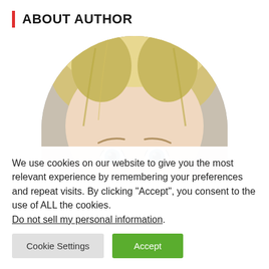ABOUT AUTHOR
[Figure (photo): Circular cropped portrait photo of a blonde woman with blue eyes, showing forehead and eyes]
We use cookies on our website to give you the most relevant experience by remembering your preferences and repeat visits. By clicking “Accept”, you consent to the use of ALL the cookies.
Do not sell my personal information.
Cookie Settings   Accept